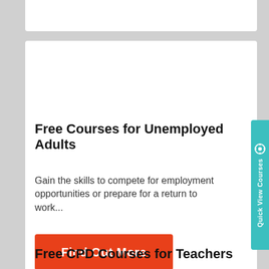Free Courses for Unemployed Adults
Gain the skills to compete for employment opportunities or prepare for a return to work...
Find Out More
Quick View Courses
Free CPD Courses for Teachers